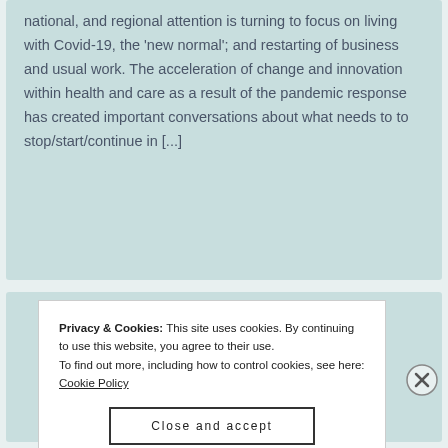national, and regional attention is turning to focus on living with Covid-19, the 'new normal'; and restarting of business and usual work. The acceleration of change and innovation within health and care as a result of the pandemic response has created important conversations about what needs to to stop/start/continue in [...]
Privacy & Cookies: This site uses cookies. By continuing to use this website, you agree to their use.
To find out more, including how to control cookies, see here: Cookie Policy
Close and accept